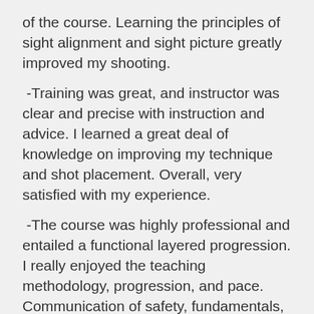of the course. Learning the principles of sight alignment and sight picture greatly improved my shooting.
-Training was great, and instructor was clear and precise with instruction and advice. I learned a great deal of knowledge on improving my technique and shot placement. Overall, very satisfied with my experience.
-The course was highly professional and entailed a functional layered progression. I really enjoyed the teaching methodology, progression, and pace. Communication of safety, fundamentals, body mechanics, manipulations and other particulars were concisely articulated (as well as answers to questions) and demonstrated with precision. The unique visual teaching tools – e.g. interactive poster, targets, and slides (notes) are great